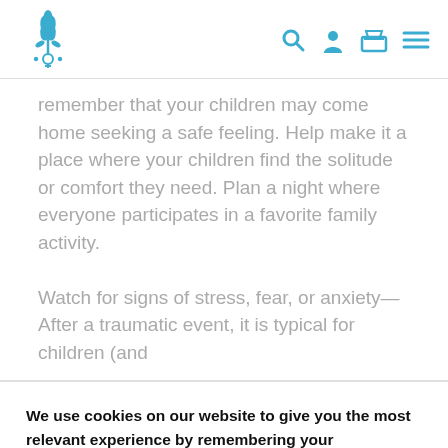Website header with logo and navigation icons (search, user, cart, menu)
remember that your children may come home seeking a safe feeling. Help make it a place where your children find the solitude or comfort they need. Plan a night where everyone participates in a favorite family activity.
Watch for signs of stress, fear, or anxiety—After a traumatic event, it is typical for children (and
We use cookies on our website to give you the most relevant experience by remembering your preferences and repeat visits. By clicking "Accept All", you consent to the use of ALL the cookies. However, you may visit "Cookie Settings" to provide a controlled consent.